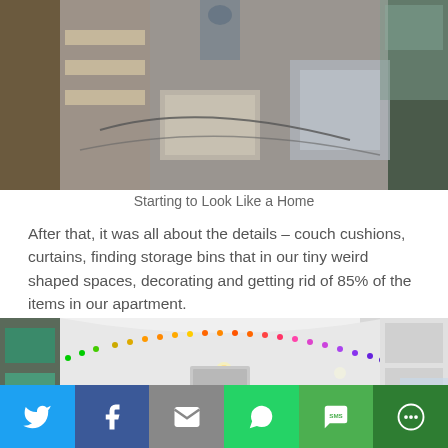[Figure (photo): Overhead/aerial view of a bus or vehicle interior under construction, showing bare flooring, shelving, and building materials in progress]
Starting to Look Like a Home
After that, it was all about the details – couch cushions, curtains, finding storage bins that in our tiny weird shaped spaces, decorating and getting rid of 85% of the items in our apartment.
[Figure (photo): Interior view of a converted bus/skoolie showing white ceiling with colorful LED light strip running along the arch, teal/ocean mural, cabinets, and living space]
[Figure (infographic): Social media share bar with Twitter, Facebook, Email, WhatsApp, SMS, and More buttons]